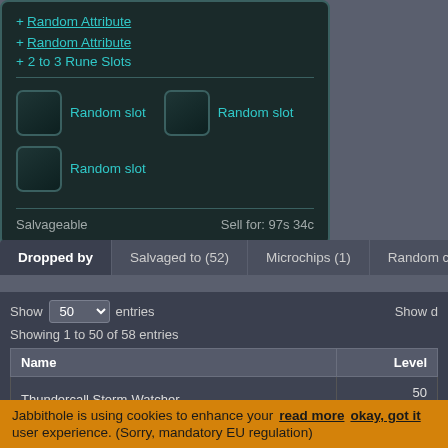+ Random Attribute
+ Random Attribute
+ 2 to 3 Rune Slots
[Figure (screenshot): Three random slot boxes with labels 'Random slot']
Salvageable    Sell for: 97s 34c
Dropped by | Salvaged to (52) | Microchips (1) | Random circu...
Show 50 entries
Showing 1 to 50 of 58 entries
| Name | Level |
| --- | --- |
| Thundercall Storm-Watcher | 50
Grunt |
Jabbithole is using cookies to enhance your user experience. (Sorry, mandatory EU regulation)    read more    okay, got it